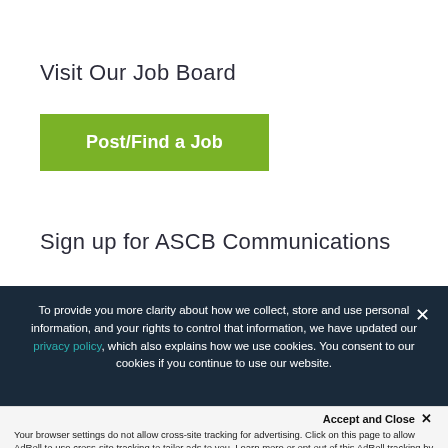Visit Our Job Board
Post/Find a Job
Sign up for ASCB Communications
To provide you more clarity about how we collect, store and use personal information, and your rights to control that information, we have updated our privacy policy, which also explains how we use cookies. You consent to our cookies if you continue to use our website.
Accept and Close ×
Your browser settings do not allow cross-site tracking for advertising. Click on this page to allow AdRoll to use cross-site tracking to tailor ads to you. Learn more or opt out of this AdRoll tracking by clicking here. This message only appears once.